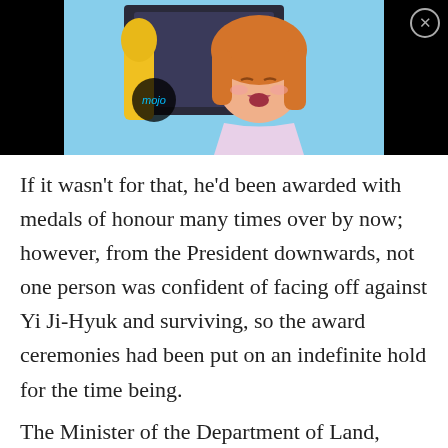[Figure (screenshot): Anime screenshot showing a girl with orange/brown hair singing into a microphone, with a 'mojo' logo visible, set against a black background on the sides.]
If it wasn't for that, he'd been awarded with medals of honour many times over by now; however, from the President downwards, not one person was confident of facing off against Yi Ji-Hyuk and surviving, so the award ceremonies had been put on an indefinite hold for the time being.
The Minister of the Department of Land,